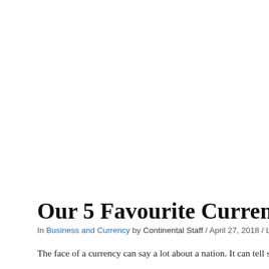Our 5 Favourite Currency Desi
In Business and Currency by Continental Staff / April 27, 2018 / Leave a Comme
The face of a currency can say a lot about a nation. It can tell stori